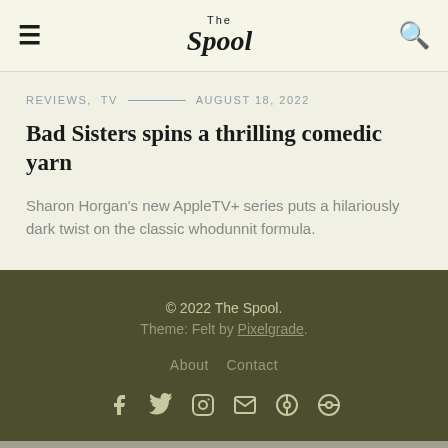The Spool — navigation header with hamburger menu and search icon
REVIEWS,  TV — AUGUST 18, 2022
Bad Sisters spins a thrilling comedic yarn
Sharon Horgan's new AppleTV+ series puts a hilariously dark twist on the classic whodunnit formula.
© 2022 The Spool. Theme: Felt by Pixelgrade. About  Contact
[Figure (infographic): Social media icons: Facebook, Twitter, Instagram, Email, and two circular icons]